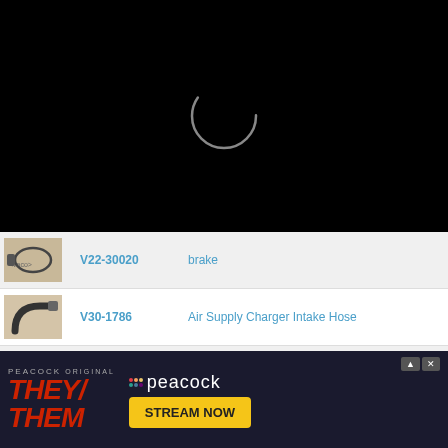[Figure (screenshot): Black loading screen with circular loading spinner ring in center]
| Image | SKU | Description |
| --- | --- | --- |
| [cable image] | V22-30020 | ...parking brake |
| [hose image] | V30-1786 | Air Supply Charger Intake Hose |
| [arm image] | V70-0292 | Wheel Suspension Track Control Arm |
| [strut image] |  | Wheel Suspension Rod/Strut, |
| [disc image] | V38-80006 | Brake System Brake Disc |
[Figure (screenshot): Peacock ORIGINAL advertisement for THEY/THEM with STREAM NOW button]